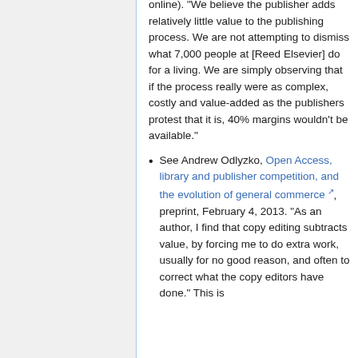online). "We believe the publisher adds relatively little value to the publishing process. We are not attempting to dismiss what 7,000 people at [Reed Elsevier] do for a living. We are simply observing that if the process really were as complex, costly and value-added as the publishers protest that it is, 40% margins wouldn't be available."
See Andrew Odlyzko, Open Access, library and publisher competition, and the evolution of general commerce, preprint, February 4, 2013. "As an author, I find that copy editing subtracts value, by forcing me to do extra work, usually for no good reason, and often to correct what the copy editors have done." This is